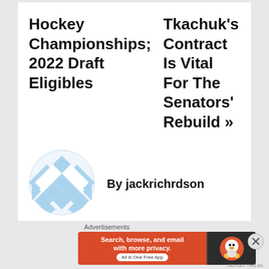Hockey Championships; 2022 Draft Eligibles
Tkachuk’s Contract Is Vital For The Senators’ Rebuild »
[Figure (logo): Circular avatar/logo with light blue checkered diamond pattern on white background]
By jackrichrdson
Advertisements
[Figure (other): DuckDuckGo advertisement banner: orange section with text 'Search, browse, and email with more privacy. All in One Free App' and dark section with DuckDuckGo logo]